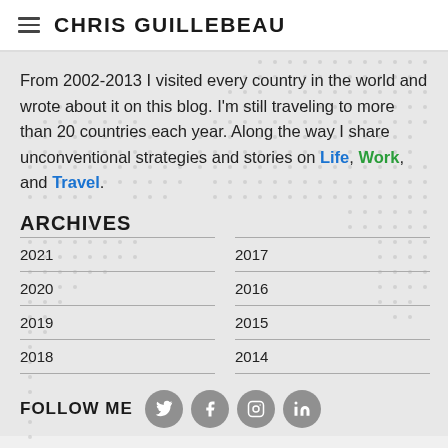CHRIS GUILLEBEAU
From 2002-2013 I visited every country in the world and wrote about it on this blog. I'm still traveling to more than 20 countries each year. Along the way I share unconventional strategies and stories on Life, Work, and Travel.
ARCHIVES
2021
2020
2019
2018
2017
2016
2015
2014
FOLLOW ME